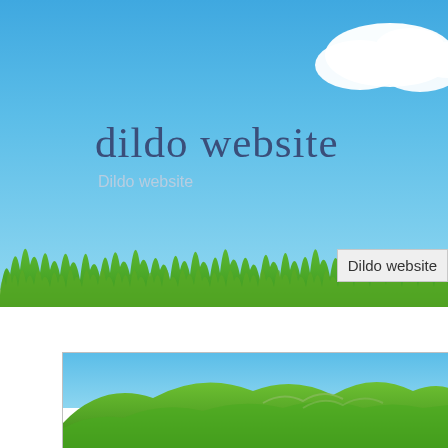[Figure (screenshot): Website screenshot showing a sky-and-grass nature banner with the text 'dildo website' in large blue serif font and 'Dildo website' subtitle below it. A white cloud appears in the upper right. Green grass runs across the lower portion of the banner. A tooltip/label box shows 'Dildo website' at the lower right. Below the banner is a white gap, then a second screenshot showing green rolling hills under a blue sky.]
dildo website
Dildo website
Dildo website